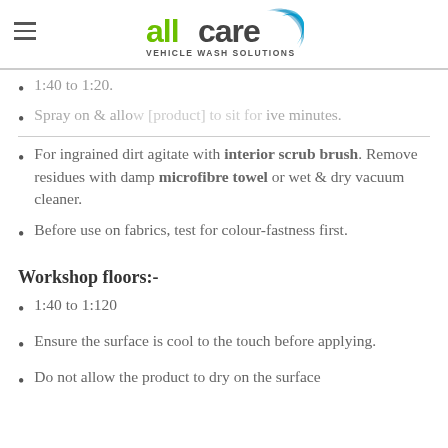allcare VEHICLE WASH SOLUTIONS
1:40 to 1:20 [partial, cut off at top]
Spray on & allow [cut off] five minutes.
For ingrained dirt agitate with interior scrub brush. Remove residues with damp microfibre towel or wet & dry vacuum cleaner.
Before use on fabrics, test for colour-fastness first.
Workshop floors:-
1:40 to 1:120
Ensure the surface is cool to the touch before applying.
Do not allow the product to dry on the surface